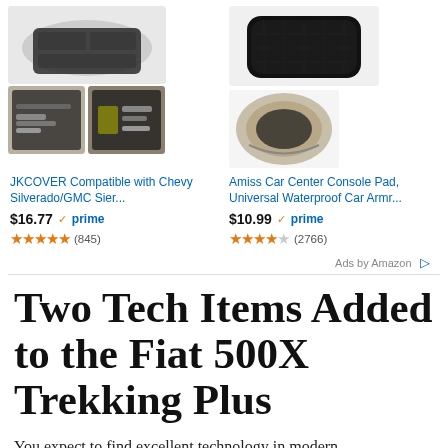[Figure (screenshot): Amazon ad: JKCOVER Compatible with Chevy Silverado/GMC Sier... product images showing a car center console organizer tray]
JKCOVER Compatible with Chevy Silverado/GMC Sier...
$16.77 prime (845 reviews, 5 stars)
[Figure (screenshot): Amazon ad: Amiss Car Center Console Pad, Universal Waterproof Car Armr... product images showing a black padded armrest cover]
Amiss Car Center Console Pad, Universal Waterproof Car Armr...
$10.99 prime (2766 reviews, 4 stars)
Ads by Amazon
Two Tech Items Added to the Fiat 500X Trekking Plus
You expect to find excellent technology in modern